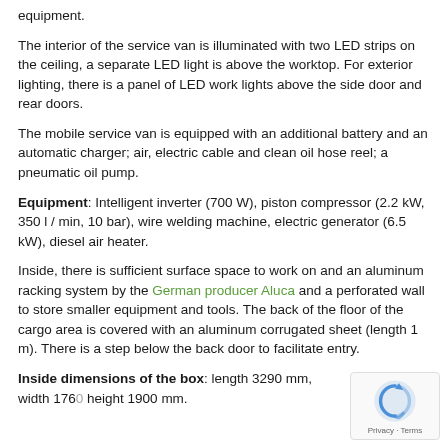equipment.
The interior of the service van is illuminated with two LED strips on the ceiling, a separate LED light is above the worktop. For exterior lighting, there is a panel of LED work lights above the side door and rear doors.
The mobile service van is equipped with an additional battery and an automatic charger; air, electric cable and clean oil hose reel; a pneumatic oil pump.
Equipment: Intelligent inverter (700 W), piston compressor (2.2 kW, 350 l / min, 10 bar), wire welding machine, electric generator (6.5 kW), diesel air heater.
Inside, there is sufficient surface space to work on and an aluminum racking system by the German producer Aluca and a perforated wall to store smaller equipment and tools. The back of the floor of the cargo area is covered with an aluminum corrugated sheet (length 1 m). There is a step below the back door to facilitate entry.
Inside dimensions of the box: length 3290 mm, width 1760 height 1900 mm.